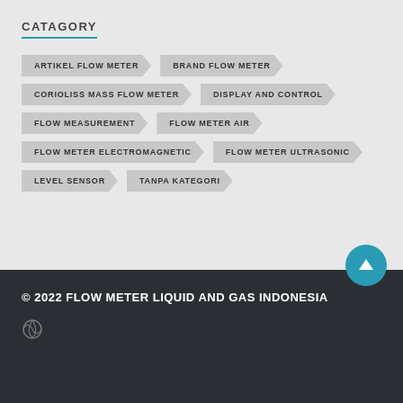CATAGORY
ARTIKEL FLOW METER
BRAND FLOW METER
CORIOLISS MASS FLOW METER
DISPLAY AND CONTROL
FLOW MEASUREMENT
FLOW METER AIR
FLOW METER ELECTROMAGNETIC
FLOW METER ULTRASONIC
LEVEL SENSOR
TANPA KATEGORI
© 2022 FLOW METER LIQUID AND GAS INDONESIA